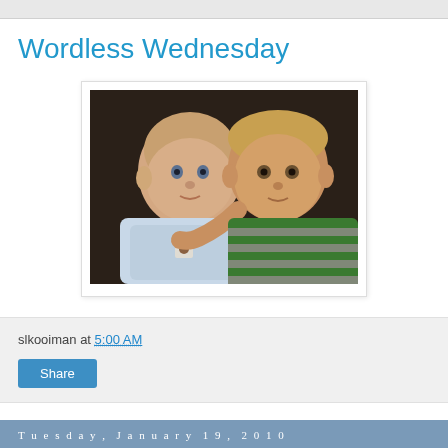Wordless Wednesday
[Figure (photo): Two young children — a baby in a light blue onesie and a toddler in a green and grey striped shirt — posed together against a dark background.]
slkooiman at 5:00 AM
Share
Tuesday, January 19, 2010